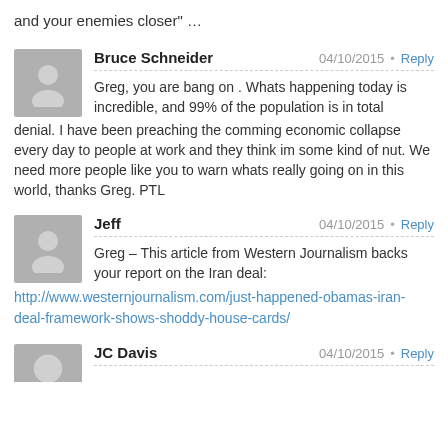and your enemies closer" …
Bruce Schneider · 04/10/2015 · Reply
Greg, you are bang on . Whats happening today is incredible, and 99% of the population is in total denial. I have been preaching the comming economic collapse every day to people at work and they think im some kind of nut. We need more people like you to warn whats really going on in this world, thanks Greg. PTL
Jeff · 04/10/2015 · Reply
Greg – This article from Western Journalism backs your report on the Iran deal:
http://www.westernjournalism.com/just-happened-obamas-iran-deal-framework-shows-shoddy-house-cards/
JC Davis · 04/10/2015 · Reply